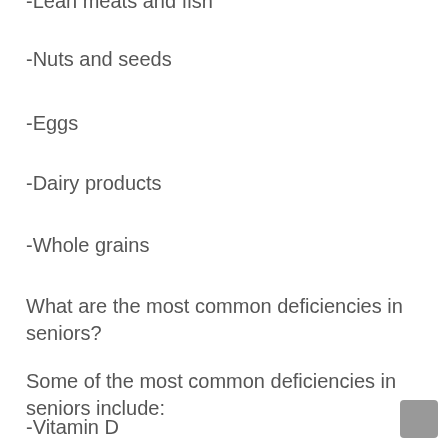-Lean meats and fish
-Nuts and seeds
-Eggs
-Dairy products
-Whole grains
What are the most common deficiencies in seniors?
Some of the most common deficiencies in seniors include:
-Vitamin D